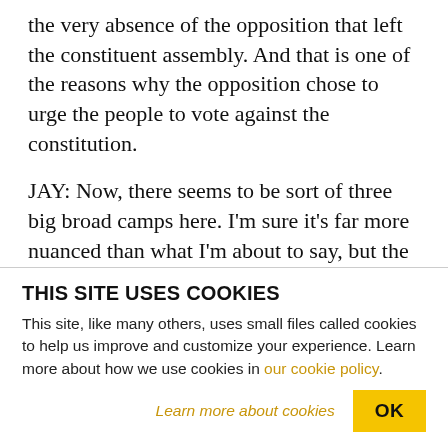the very absence of the opposition that left the constituent assembly. And that is one of the reasons why the opposition chose to urge the people to vote against the constitution.
JAY: Now, there seems to be sort of three big broad camps here. I'm sure it's far more nuanced than what I'm about to say, but the Muslim Brotherhood and its supporters who are in favor of the president and in favor of this constitution, there seems to be serious differences with those members of the elite that
THIS SITE USES COOKIES
This site, like many others, uses small files called cookies to help us improve and customize your experience. Learn more about how we use cookies in our cookie policy.
Learn more about cookies